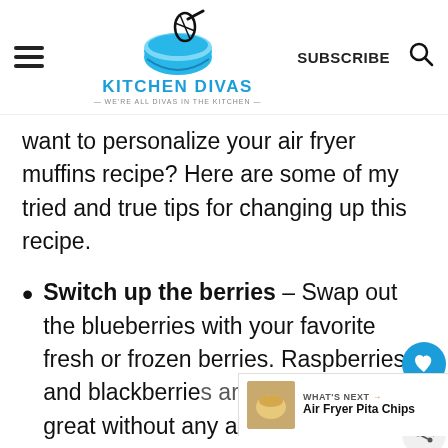KITCHEN DIVAS — WE'RE ALL DIVAS IN THE KITCHEN — | SUBSCRIBE
want to personalize your air fryer muffins recipe? Here are some of my tried and true tips for changing up this recipe.
Switch up the berries – Swap out the blueberries with your favorite fresh or frozen berries. Raspberries and blackberries are great without any additional work. If you want to use strawberries